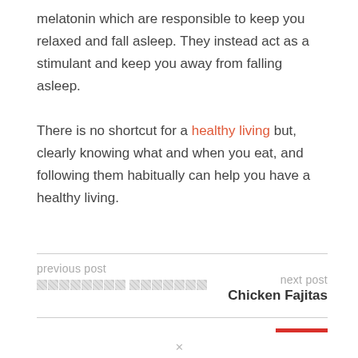melatonin which are responsible to keep you relaxed and fall asleep. They instead act as a stimulant and keep you away from falling asleep.

There is no shortcut for a healthy living but, clearly knowing what and when you eat, and following them habitually can help you have a healthy living.
previous post
[redacted link text]
next post
Chicken Fajitas